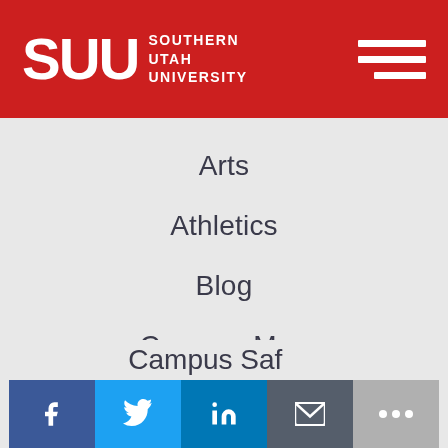SUU SOUTHERN UTAH UNIVERSITY
Arts
Athletics
Blog
Campus Map
Events
Parents & Families
Campus Safety
[Figure (infographic): Social sharing bar with Facebook, Twitter, LinkedIn, Email, and More buttons]